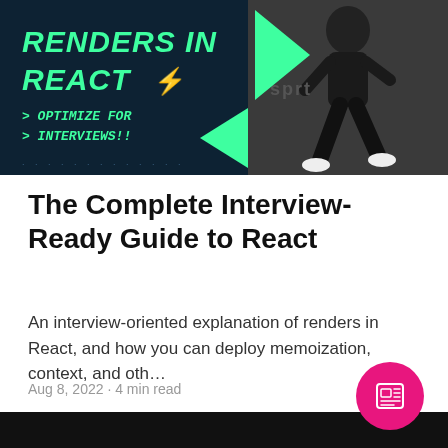[Figure (illustration): Dark navy banner with green text 'RENDERS IN REACT' with lightning bolt emoji, green italic monospace text '> OPTIMIZE FOR > INTERVIEWS!!', green chevron arrows, dotted pattern, and a black-and-white photo of a runner on the right side.]
The Complete Interview-Ready Guide to React
An interview-oriented explanation of renders in React, and how you can deploy memoization, context, and oth…
Aug 8, 2022 · 4 min read